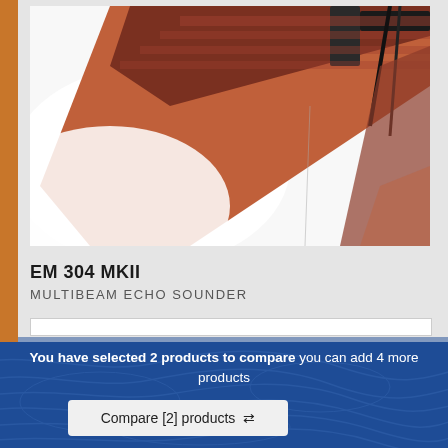[Figure (photo): Close-up photograph of an EM 304 MKII multibeam echo sounder transducer mounted on a ship hull, showing rust-colored metal surface and bracket hardware at an angle]
EM 304 MKII
MULTIBEAM ECHO SOUNDER
You have selected 2 products to compare you can add 4 more products
Compare [2] products